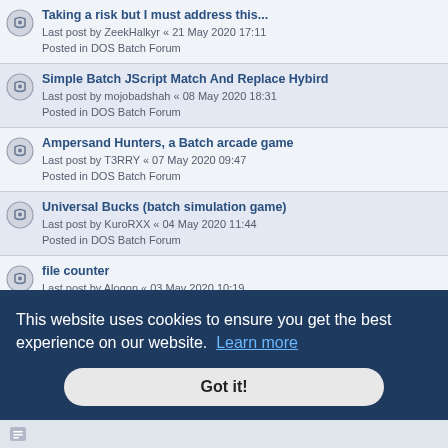Taking a risk but I must address this...
Last post by ZeekHalkyr « 21 May 2020 17:11
Posted in DOS Batch Forum
Simple Batch JScript Match And Replace Hybird
Last post by mojobadshah « 08 May 2020 18:31
Posted in DOS Batch Forum
Ampersand Hunters, a Batch arcade game
Last post by T3RRY « 07 May 2020 09:47
Posted in DOS Batch Forum
Universal Bucks (batch simulation game)
Last post by KuroRXX « 04 May 2020 11:44
Posted in DOS Batch Forum
file counter
Last post by Alogon « 03 May 2020 10:19
Posted in DOS Batch Forum
Match Specific Characters in File Content and Print as Incremented Numeric List
Last post by mojobadshah « 27 Apr 2020 15:48
Posted in DOS Batch Forum
This website uses cookies to ensure you get the best experience on our website. Learn more
Got it!